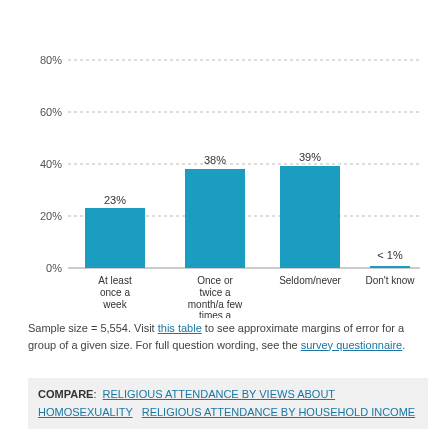[Figure (bar-chart): Religious attendance frequency]
Sample size = 5,554. Visit this table to see approximate margins of error for a group of a given size. For full question wording, see the survey questionnaire.
COMPARE: RELIGIOUS ATTENDANCE BY VIEWS ABOUT HOMOSEXUALITY    RELIGIOUS ATTENDANCE BY HOUSEHOLD INCOME